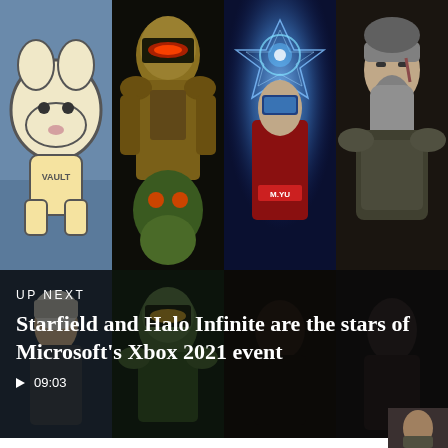[Figure (photo): Grid of four video game promotional images in top section: Fallout cartoon dog, Doom Eternal armored soldier, Mass Effect character with glowing visor, and a Viking/Norse warrior. Below is an 'UP NEXT' video thumbnail with four more game screenshots overlaid with text.]
UP NEXT
Starfield and Halo Infinite are the stars of Microsoft's Xbox 2021 event
▶ 09:03